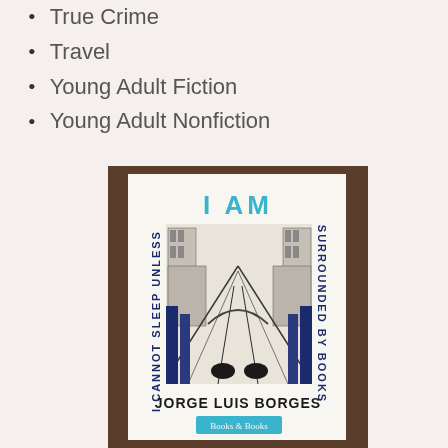True Crime
Travel
Young Adult Fiction
Young Adult Nonfiction
[Figure (photo): A photo of a book cover reading 'I AM / I CANNOT SLEEP UNLESS / SURROUNDED BY BOOKS / JORGE LUIS BORGES' with a Books & Books logo at the bottom, featuring a woodblock-style illustration of a city street with book spines.]